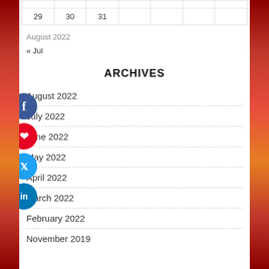| 29 | 30 | 31 |  |  |  |  |
August 2022
« Jul
ARCHIVES
August 2022
July 2022
June 2022
May 2022
April 2022
March 2022
February 2022
November 2019